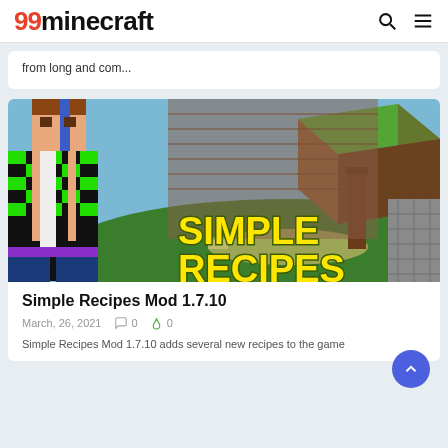99minecraft
from long and com...
[Figure (screenshot): Minecraft game screenshot showing a blocky character on the left with green/black checkered outfit, and a 3D Minecraft world environment with grass blocks, dirt blocks and stone walls. Large yellow text reads 'SIMPLE RECIPES' overlaid on the image.]
Simple Recipes Mod 1.7.10
March, 26, 2021   0   0
Simple Recipes Mod 1.7.10 adds several new recipes to the game